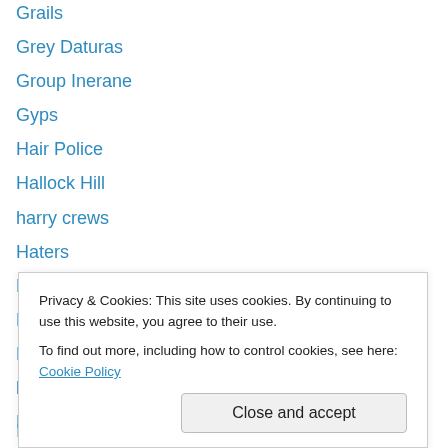Grails
Grey Daturas
Group Inerane
Gyps
Hair Police
Hallock Hill
harry crews
Haters
Head of David
Henry Blacker
Hey Collosus
hippies
Hospitals
hototogisu
Indignant Senility
Privacy & Cookies: This site uses cookies. By continuing to use this website, you agree to their use. To find out more, including how to control cookies, see here: Cookie Policy